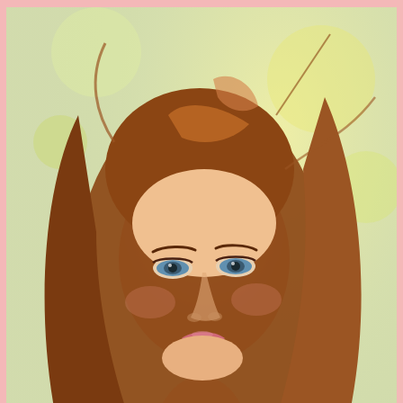[Figure (photo): Portrait photo of Clare-Alana Ford, a young woman with long auburn hair wearing a red sweater, photographed outdoors with a soft bokeh background. Photo credit: © Stefano Brunesci]
© Stefano Brunesci
A recent article in The Daily Mail (Online) reported on the success and determination of model, Clare-Alana Ford as she struggles with the rare muscle condition, myasthenia gravis.
As a model she has to hold hard, angular poses for long periods. But the condition causes her to suddenly become